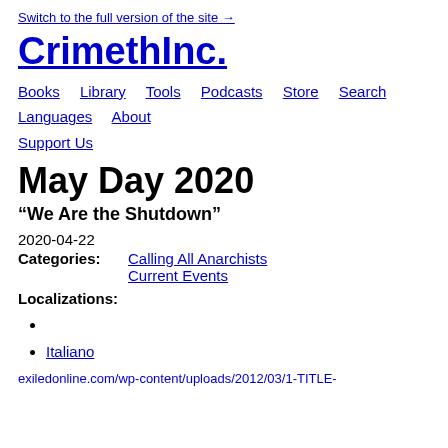Switch to the full version of the site →
CrimethInc.
Books   Library   Tools   Podcasts   Store   Search   Languages   About
Support Us
May Day 2020
“We Are the Shutdown”
2020-04-22
Categories:   Calling All Anarchists   Current Events
Localizations:
Italiano
exiledonline.com/wp-content/uploads/2012/03/1-TITLE-